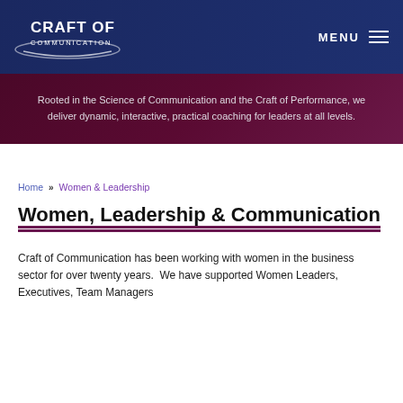Craft of Communication | MENU
Rooted in the Science of Communication and the Craft of Performance, we deliver dynamic, interactive, practical coaching for leaders at all levels.
Home › Women & Leadership
Women, Leadership & Communication
Craft of Communication has been working with women in the business sector for over twenty years.  We have supported Women Leaders, Executives, Team Managers